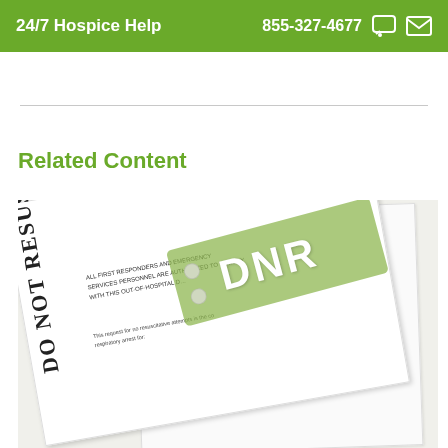24/7 Hospice Help    855-327-4677
Related Content
[Figure (photo): A Do Not Resuscitate (DNR) form document with a green DNR medical tag/bracelet overlaid on top. The document header reads 'DO NOT RESUSCITATE' and mentions first responders and emergency services personnel are authorized to comply with the out-of-hospital DNR order.]